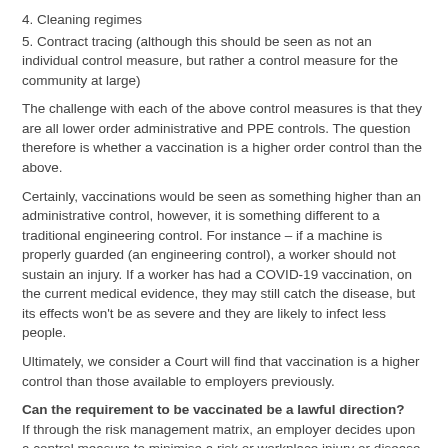4. Cleaning regimes
5. Contract tracing (although this should be seen as not an individual control measure, but rather a control measure for the community at large)
The challenge with each of the above control measures is that they are all lower order administrative and PPE controls. The question therefore is whether a vaccination is a higher order control than the above.
Certainly, vaccinations would be seen as something higher than an administrative control, however, it is something different to a traditional engineering control. For instance – if a machine is properly guarded (an engineering control), a worker should not sustain an injury. If a worker has had a COVID-19 vaccination, on the current medical evidence, they may still catch the disease, but its effects won't be as severe and they are likely to infect less people.
Ultimately, we consider a Court will find that vaccination is a higher control than those available to employers previously.
Can the requirement to be vaccinated be a lawful direction?
If through the risk management matrix, an employer decides upon a control measure to minimise a risk or workplace injury or disease, it is a lawful direction for the employer to require a worker to follow that direction.